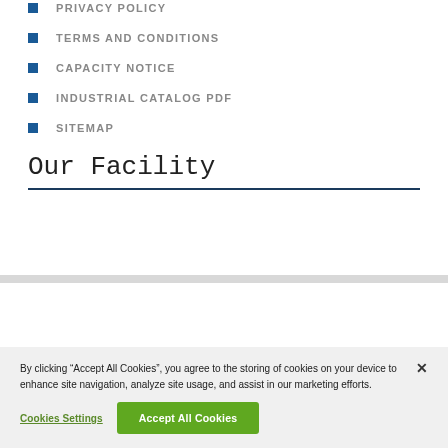PRIVACY POLICY
TERMS AND CONDITIONS
CAPACITY NOTICE
INDUSTRIAL CATALOG PDF
SITEMAP
Our Facility
By clicking “Accept All Cookies”, you agree to the storing of cookies on your device to enhance site navigation, analyze site usage, and assist in our marketing efforts.
Cookies Settings
Accept All Cookies